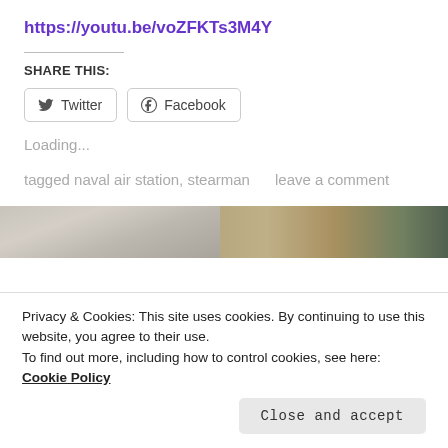https://youtu.be/voZFKTs3M4Y
SHARE THIS:
[Figure (screenshot): Twitter share button]
[Figure (screenshot): Facebook share button]
Loading...
tagged naval air station, stearman     leave a comment
[Figure (photo): Partial image strip at top of next section]
Privacy & Cookies: This site uses cookies. By continuing to use this website, you agree to their use.
To find out more, including how to control cookies, see here: Cookie Policy
Close and accept
[Figure (photo): Bottom image strip showing food/objects]